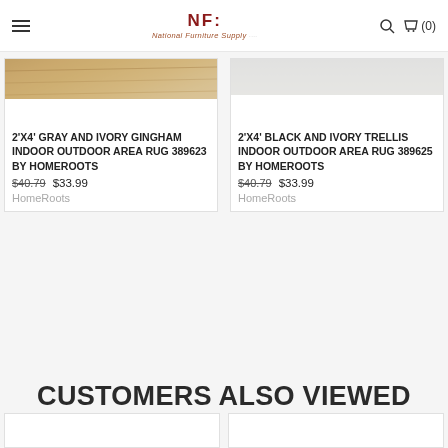National Furniture Supply — NF (0)
[Figure (photo): Product image of gray and ivory gingham rug — partially cropped at top]
2'X4' GRAY AND IVORY GINGHAM INDOOR OUTDOOR AREA RUG 389623 BY HOMEROOTS
$40.79  $33.99
HomeRoots
[Figure (photo): Product image of black and ivory trellis rug — partially cropped at top]
2'X4' BLACK AND IVORY TRELLIS INDOOR OUTDOOR AREA RUG 389625 BY HOMEROOTS
$40.79  $33.99
HomeRoots
CUSTOMERS ALSO VIEWED